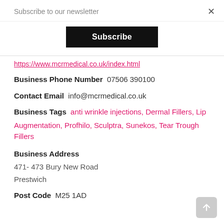Subscribe to our newsletter
[Figure (other): Black Subscribe button]
https://www.mcrmedical.co.uk/index.html
Business Phone Number  07506 390100
Contact Email  info@mcrmedical.co.uk
Business Tags  anti wrinkle injections, Dermal Fillers, Lip Augmentation, Profhilo, Sculptra, Sunekos, Tear Trough Fillers
Business Address
471- 473 Bury New Road
Prestwich
Post Code  M25 1AD